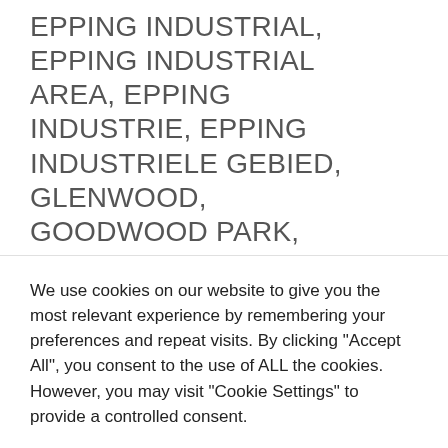EPPING INDUSTRIAL, EPPING INDUSTRIAL AREA, EPPING INDUSTRIE, EPPING INDUSTRIELE GEBIED, GLENWOOD, GOODWOOD PARK, GOODWOOD WEST, GOODWOODPARK, GOODWOOD-WES, N1 CITY, N1 STAD,
We use cookies on our website to give you the most relevant experience by remembering your preferences and repeat visits. By clicking "Accept All", you consent to the use of ALL the cookies. However, you may visit "Cookie Settings" to provide a controlled consent.